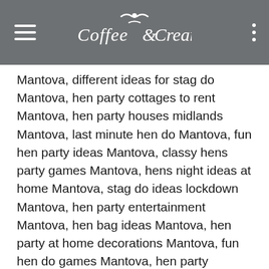Coffee & Cream
Mantova, different ideas for stag do Mantova, hen party cottages to rent Mantova, hen party houses midlands Mantova, last minute hen do Mantova, fun hen party ideas Mantova, classy hens party games Mantova, hens night ideas at home Mantova, stag do ideas lockdown Mantova, hen party entertainment Mantova, hen bag ideas Mantova, hen party at home decorations Mantova, fun hen do games Mantova, hen party charades Mantova, unique hens night ideas Mantova, games for hens night Mantova, hen party entertainment ideas Mantova, hen party goodie bag ideas Mantova, outdoor hen do ideas Mantova, hens weekend away Mantova, hen do bags ideas Mantova, hen do treasure hunt Mantova, hen weekend activities Mantova, hen party games amazon Mantova, stag